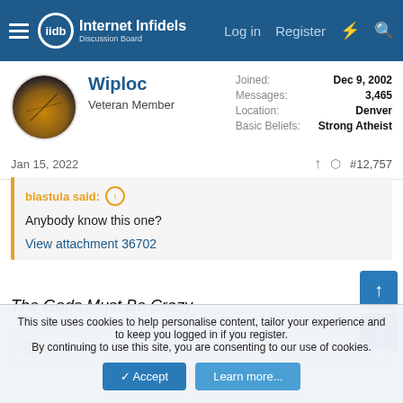Internet Infidels Discussion Board — Log in | Register
Wiploc
Veteran Member
Joined: Dec 9, 2002
Messages: 3,465
Location: Denver
Basic Beliefs: Strong Atheist
Jan 15, 2022  #12,757
blastula said:
Anybody know this one?
View attachment 36702
The Gods Must Be Crazy
Thomas II
This site uses cookies to help personalise content, tailor your experience and to keep you logged in if you register.
By continuing to use this site, you are consenting to our use of cookies.